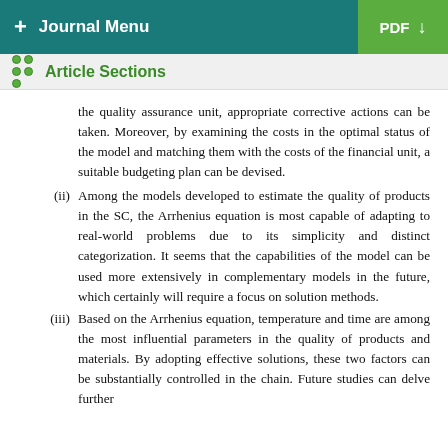+ Journal Menu | PDF ↓
Article Sections
the quality assurance unit, appropriate corrective actions can be taken. Moreover, by examining the costs in the optimal status of the model and matching them with the costs of the financial unit, a suitable budgeting plan can be devised.
(ii) Among the models developed to estimate the quality of products in the SC, the Arrhenius equation is most capable of adapting to real-world problems due to its simplicity and distinct categorization. It seems that the capabilities of the model can be used more extensively in complementary models in the future, which certainly will require a focus on solution methods.
(iii) Based on the Arrhenius equation, temperature and time are among the most influential parameters in the quality of products and materials. By adopting effective solutions, these two factors can be substantially controlled in the chain. Future studies can delve further